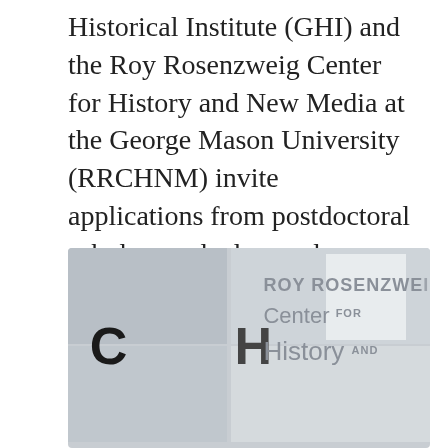Historical Institute (GHI) and the Roy Rosenzweig Center for History and New Media at the George Mason University (RRCHNM) invite applications from postdoctoral scholars and advanced doctoral students based in Germany for a 12-month fellowship in digital history.
[Figure (photo): Photo of the Roy Rosenzweig Center for History and New Media signage on a wall, showing large letters C and H on gray panels with the text ROY ROSENZWEIG Center FOR History AND]